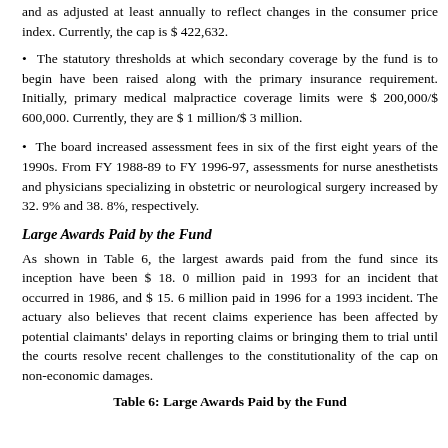and as adjusted at least annually to reflect changes in the consumer price index. Currently, the cap is $ 422,632.
The statutory thresholds at which secondary coverage by the fund is to begin have been raised along with the primary insurance requirement. Initially, primary medical malpractice coverage limits were $ 200,000/$ 600,000. Currently, they are $ 1 million/$ 3 million.
The board increased assessment fees in six of the first eight years of the 1990s. From FY 1988-89 to FY 1996-97, assessments for nurse anesthetists and physicians specializing in obstetric or neurological surgery increased by 32. 9% and 38. 8%, respectively.
Large Awards Paid by the Fund
As shown in Table 6, the largest awards paid from the fund since its inception have been $ 18. 0 million paid in 1993 for an incident that occurred in 1986, and $ 15. 6 million paid in 1996 for a 1993 incident. The actuary also believes that recent claims experience has been affected by potential claimants' delays in reporting claims or bringing them to trial until the courts resolve recent challenges to the constitutionality of the cap on non-economic damages.
Table 6: Large Awards Paid by the Fund